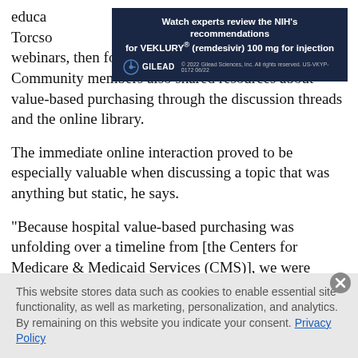educa... Dr. Torcso... webinars, then followed up with discussions. Community members also shared resources about value-based purchasing through the discussion threads and the online library.
[Figure (other): Gilead advertisement banner for VEKLURY (remdesivir) 100 mg for injection with NIH recommendations review. Dark navy background with Gilead logo and copyright notice: 2022 Gilead Sciences, Inc. All rights reserved. US-VKYP-0172 06/22]
The immediate online interaction proved to be especially valuable when discussing a topic that was anything but static, he says.
“Because hospital value-based purchasing was unfolding over a timeline from [the Centers for Medicare & Medicaid Services (CMS)], we were
This website stores data such as cookies to enable essential site functionality, as well as marketing, personalization, and analytics. By remaining on this website you indicate your consent. Privacy Policy